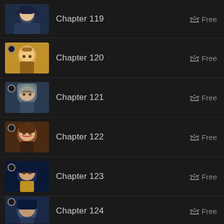Chapter 119 Free
Chapter 120 Free
Chapter 121 Free
Chapter 122 Free
Chapter 123 Free
Chapter 124 Free